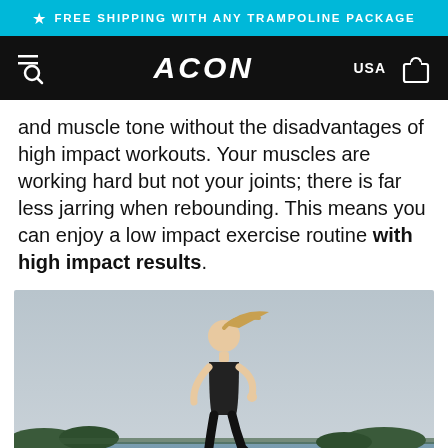FREE SHIPPING WITH ANY TRAMPOLINE PACKAGE
ACON USA
and muscle tone without the disadvantages of high impact workouts. Your muscles are working hard but not your joints; there is far less jarring when rebounding. This means you can enjoy a low impact exercise routine with high impact results.
[Figure (photo): A blonde woman in a black athletic outfit running outdoors near a body of water with trees and an overcast sky in the background.]